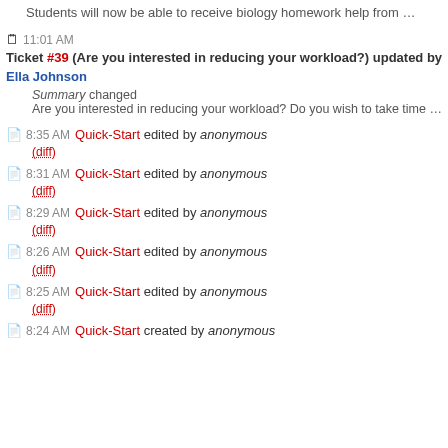Students will now be able to receive biology homework help from …
11:01 AM Ticket #39 (Are you interested in reducing your workload?) updated by Ella Johnson — Summary changed — Are you interested in reducing your workload? Do you wish to take time …
8:35 AM Quick-Start edited by anonymous (diff)
8:31 AM Quick-Start edited by anonymous (diff)
8:29 AM Quick-Start edited by anonymous (diff)
8:26 AM Quick-Start edited by anonymous (diff)
8:25 AM Quick-Start edited by anonymous (diff)
8:24 AM Quick-Start created by anonymous